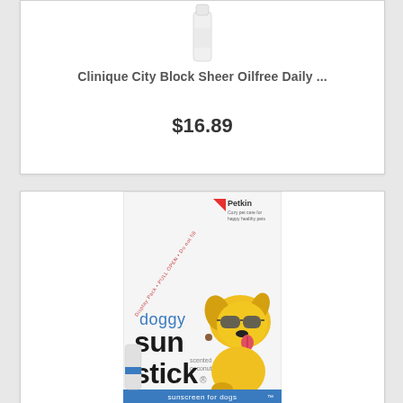[Figure (photo): Clinique City Block Sheer Oilfree Daily product bottle, white, shown from above cropped]
Clinique City Block Sheer Oilfree Daily ...
$16.89
[Figure (photo): Petkin Doggy Sun Stick sunscreen for dogs product package with cartoon yellow dog wearing sunglasses]